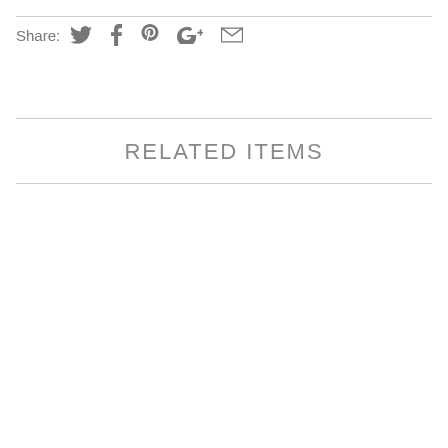Share: [Twitter] [Facebook] [Pinterest] [Google+] [Email]
RELATED ITEMS